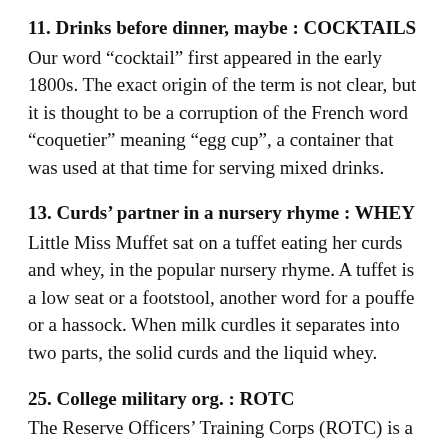11. Drinks before dinner, maybe : COCKTAILS
Our word “cocktail” first appeared in the early 1800s. The exact origin of the term is not clear, but it is thought to be a corruption of the French word “coquetier” meaning “egg cup”, a container that was used at that time for serving mixed drinks.
13. Curds’ partner in a nursery rhyme : WHEY
Little Miss Muffet sat on a tuffet eating her curds and whey, in the popular nursery rhyme. A tuffet is a low seat or a footstool, another word for a pouffe or a hassock. When milk curdles it separates into two parts, the solid curds and the liquid whey.
25. College military org. : ROTC
The Reserve Officers’ Training Corps (ROTC) is a training program for officers based in colleges all around the US. The ROTC program was established